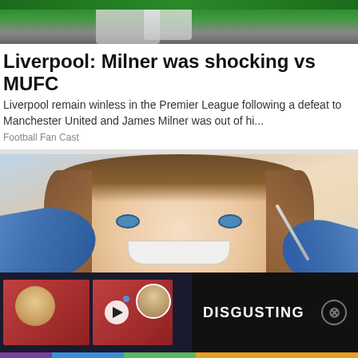[Figure (photo): Sports photo showing football players on a green pitch, partially visible at top]
Liverpool: Milner was shocking vs MUFC
Liverpool remain winless in the Premier League following a defeat to Manchester United and James Milner was out of hi...
Football Fan Cast
[Figure (photo): Close-up photo of a young woman with blue eyes and brown hair smiling, with blue-gloved dental hands near her mouth holding a dental tool]
DISGUSTING